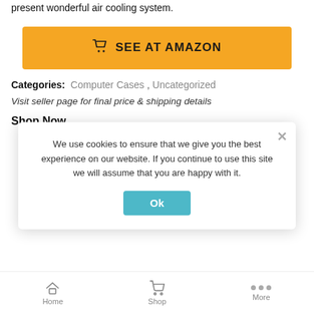present wonderful air cooling system.
SEE AT AMAZON
Categories:  Computer Cases ,  Uncategorized
Visit seller page for final price & shipping details
Shop Now
[Figure (photo): Three product images: SkyTech Shadow 3.0 gaming PC, a dark gaming tower, and ASUS TUF Gaming device, partially obscured by cookie consent overlay]
We use cookies to ensure that we give you the best experience on our website. If you continue to use this site we will assume that you are happy with it.
Ok
Home  Shop  More